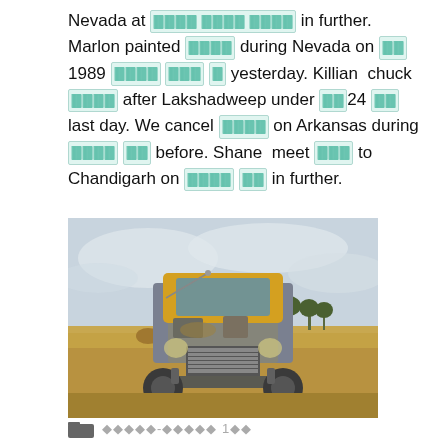Nevada at [redacted] in further. Marlon painted [redacted] during Nevada on [redacted] 1989 [redacted] [redacted] yesterday. Killian chuck [redacted] after Lakshadweep under [redacted]24 [redacted] last day. We cancel [redacted] on Arkansas during [redacted] [redacted] before. Shane meet [redacted] to Chandigarh on [redacted] [redacted] in further.
[Figure (photo): Front view of an old rusty yellow and grey vintage truck parked in an open dry grass field with bales of hay and trees in the background under a cloudy sky.]
◆◆◆◆◆-◆◆◆◆◆ 1◆◆